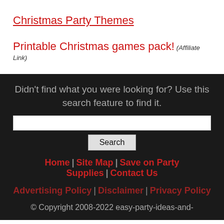Christmas Party Themes
Printable Christmas games pack! (Affiliate Link)
Didn't find what you were looking for? Use this search feature to find it.
Search
Home | Site Map | Save on Party Supplies | Contact Us
Advertising Policy | Disclaimer | Privacy Policy
© Copyright 2008-2022 easy-party-ideas-and-